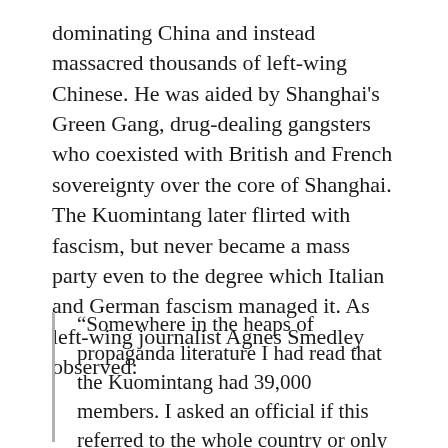dominating China and instead massacred thousands of left-wing Chinese. He was aided by Shanghai's Green Gang, drug-dealing gangsters who coexisted with British and French sovereignty over the core of Shanghai. The Kuomintang later flirted with fascism, but never became a mass party even to the degree which Italian and German fascism managed it. As left-wing journalist Agnes Smedley observed:
“Somewhere in the heaps of propaganda literature I had read that the Kuomintang had 39,000 members. I asked an official if this referred to the whole country or only